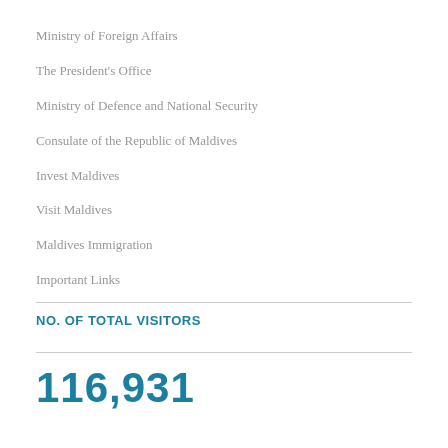Ministry of Foreign Affairs
The President's Office
Ministry of Defence and National Security
Consulate of the Republic of Maldives
Invest Maldives
Visit Maldives
Maldives Immigration
Important Links
NO. OF TOTAL VISITORS
116,931